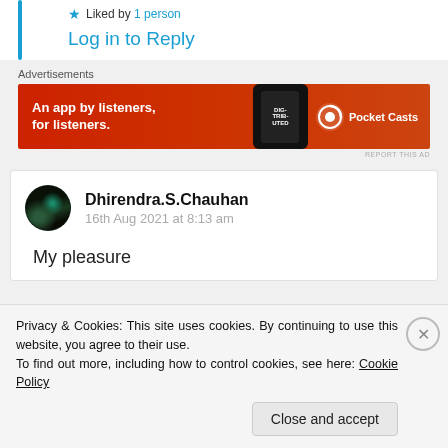★ Liked by 1 person
Log in to Reply
[Figure (other): Pocket Casts advertisement banner: red background with phone graphic, text 'An app by listeners, for listeners.' and Pocket Casts logo]
REPORT THIS AD
Dhirendra.S.Chauhan
16th Aug 2021 at 8:13 am
My pleasure
Privacy & Cookies: This site uses cookies. By continuing to use this website, you agree to their use.
To find out more, including how to control cookies, see here: Cookie Policy
Close and accept